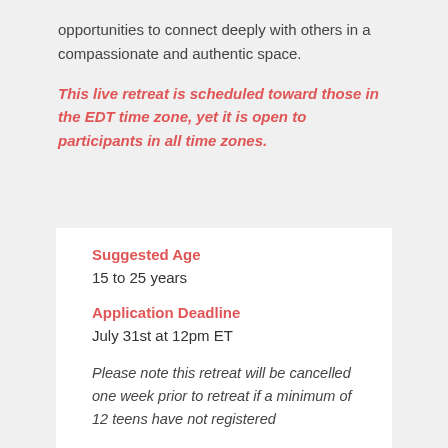opportunities to connect deeply with others in a compassionate and authentic space.
This live retreat is scheduled toward those in the EDT time zone, yet it is open to participants in all time zones.
Suggested Age
15 to 25 years
Application Deadline
July 31st at 12pm ET
Please note this retreat will be cancelled one week prior to retreat if a minimum of 12 teens have not registered